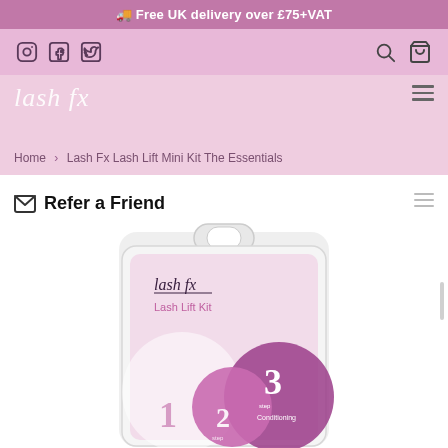🚚 Free UK delivery over £75+VAT
[Figure (screenshot): Navigation bar with Instagram, Facebook, Twitter icons on left and search, cart icons on right, on pink background]
[Figure (logo): lash fx logo in white italic script on pink/mauve background]
Home > Lash Fx Lash Lift Mini Kit The Essentials
✉ Refer a Friend
[Figure (photo): Lash FX Lash Lift Kit product in clear plastic clamshell packaging, showing pink and purple circular design with step numbers 1, 2, 3 and 'Conditioning' text visible]